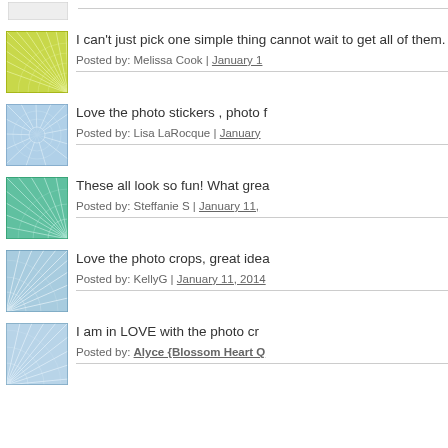[Figure (illustration): Green geometric spiral/fan avatar thumbnail]
I can't just pick one simple thing cannot wait to get all of them.
Posted by: Melissa Cook | January 1
[Figure (illustration): Blue geometric spiral/fan avatar thumbnail]
Love the photo stickers , photo f
Posted by: Lisa LaRocque | January
[Figure (illustration): Teal geometric spiral/circle avatar thumbnail]
These all look so fun! What grea
Posted by: Steffanie S | January 11,
[Figure (illustration): Light blue geometric fan/spiral avatar thumbnail]
Love the photo crops, great idea
Posted by: KellyG | January 11, 2014
[Figure (illustration): Light blue geometric fan/spiral avatar thumbnail]
I am in LOVE with the photo cr
Posted by: Alyce {Blossom Heart Q